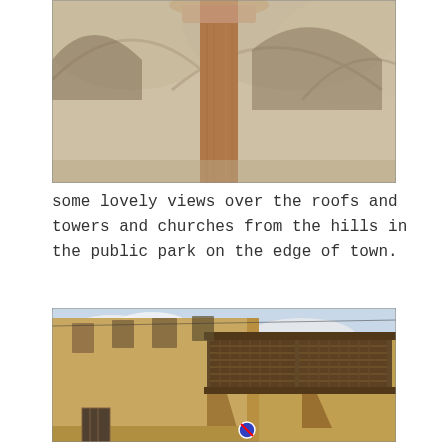[Figure (photo): Looking up at arched colonnade with a stone column capital visible in the center, part of a historic Italian building]
some lovely views over the roofs and towers and churches from the hills in the public park on the edge of town.
[Figure (photo): Looking up at the corner of a tall ochre-colored Italian building with an ornate wooden balcony/loggia protruding from upper floors, decorative corbels, and a no-parking sign visible at street level]
[Figure (photo): Bottom portion of a street scene with trees and sky partially visible, cropped at bottom of page]